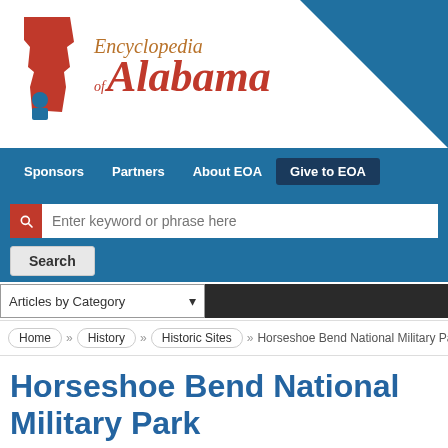[Figure (logo): Encyclopedia of Alabama logo with red Alabama state shape silhouette and stylized text]
Sponsors  Partners  About EOA  Give to EOA
Enter keyword or phrase here
Search
Articles by Category
Home » History » Historic Sites » Horseshoe Bend National Military Park
Horseshoe Bend National Military Park